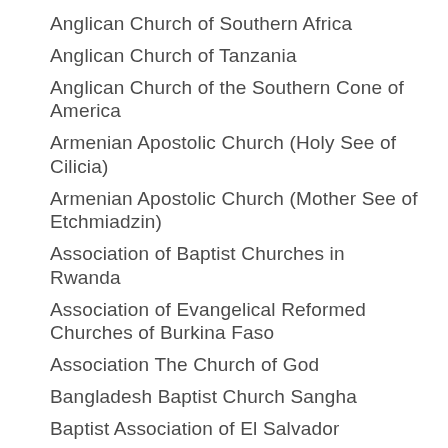Anglican Church of Southern Africa
Anglican Church of Tanzania
Anglican Church of the Southern Cone of America
Armenian Apostolic Church (Holy See of Cilicia)
Armenian Apostolic Church (Mother See of Etchmiadzin)
Association of Baptist Churches in Rwanda
Association of Evangelical Reformed Churches of Burkina Faso
Association The Church of God
Bangladesh Baptist Church Sangha
Baptist Association of El Salvador